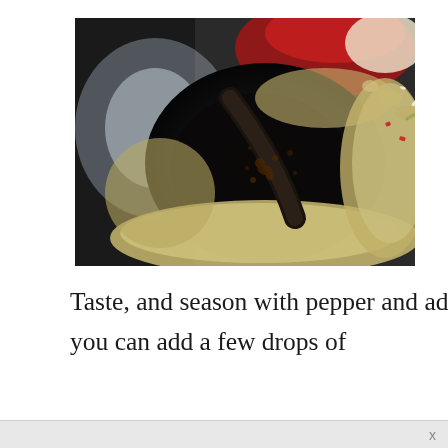[Figure (photo): Close-up photograph of fried rice being cooked in a dark wok, with visible rice grains, egg pieces, green onions, red peppers, and other vegetables being tossed together. A dark spatula is visible in the wok.]
Taste, and season with pepper and additional salt if needed. If you prefer, you can add a few drops of